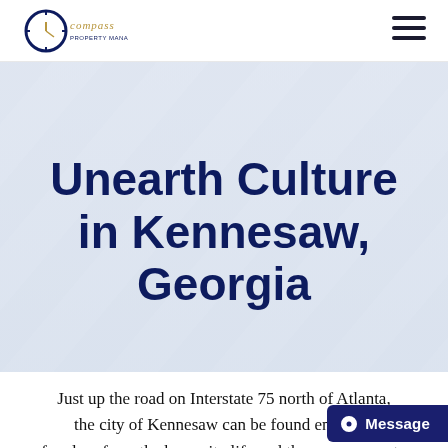Compass Property Management — navigation bar with logo and hamburger menu
Unearth Culture in Kennesaw, Georgia
[Figure (photo): Faded background photo of a modern interior room, light greys and whites, used as hero banner background]
Just up the road on Interstate 75 north of Atlanta, the city of Kennesaw can be found enjoy… freedom from the busy city life and the easy access to